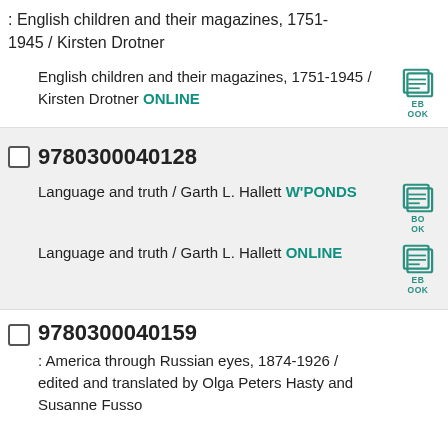: English children and their magazines, 1751-1945 / Kirsten Drotner
English children and their magazines, 1751-1945 / Kirsten Drotner ONLINE
9780300040128
Language and truth / Garth L. Hallett W'PONDS
Language and truth / Garth L. Hallett ONLINE
9780300040159
: America through Russian eyes, 1874-1926 / edited and translated by Olga Peters Hasty and Susanne Fusso